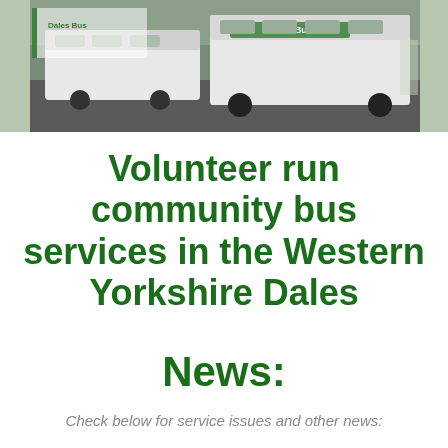[Figure (photo): Photo of white community buses/minibuses parked, showing 'Dales Bus' branding on the vehicles, taken in a car park with green surroundings. A logo/sign overlay is visible in the upper left of the photo.]
Volunteer run community bus services in the Western Yorkshire Dales
News:
Check below for service issues and other news: